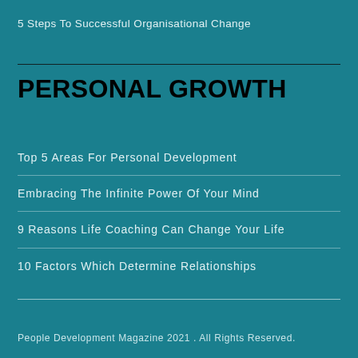5 Steps To Successful Organisational Change
PERSONAL GROWTH
Top 5 Areas For Personal Development
Embracing The Infinite Power Of Your Mind
9 Reasons Life Coaching Can Change Your Life
10 Factors Which Determine Relationships
People Development Magazine 2021 . All Rights Reserved.